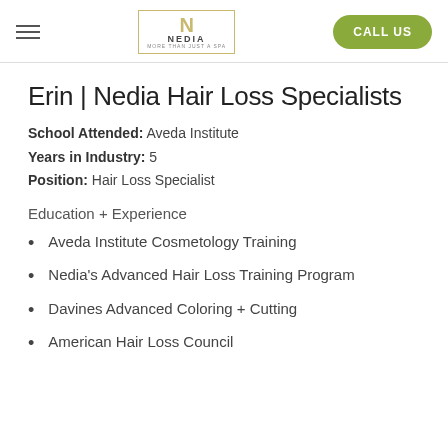NEDIA | CALL US
Erin | Nedia Hair Loss Specialists
School Attended: Aveda Institute
Years in Industry: 5
Position: Hair Loss Specialist
Education + Experience
Aveda Institute Cosmetology Training
Nedia's Advanced Hair Loss Training Program
Davines Advanced Coloring + Cutting
American Hair Loss Council